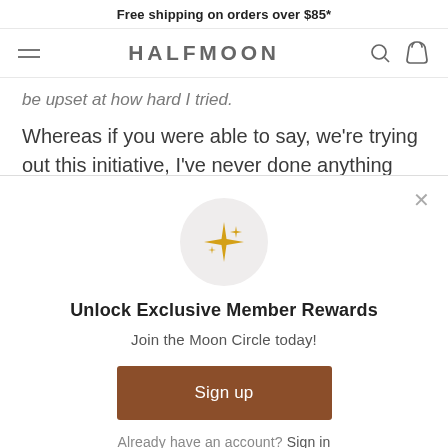Free shipping on orders over $85*
[Figure (screenshot): Halfmoon navigation bar with hamburger menu, brand name HALFMOON, search icon, and basket icon]
be upset at how hard I tried.
Whereas if you were able to say, we're trying out this initiative, I've never done anything like this
[Figure (screenshot): Modal popup with sparkle icon, title 'Unlock Exclusive Member Rewards', subtitle 'Join the Moon Circle today!', Sign up button, and 'Already have an account? Sign in' link]
Unlock Exclusive Member Rewards
Join the Moon Circle today!
Sign up
Already have an account? Sign in